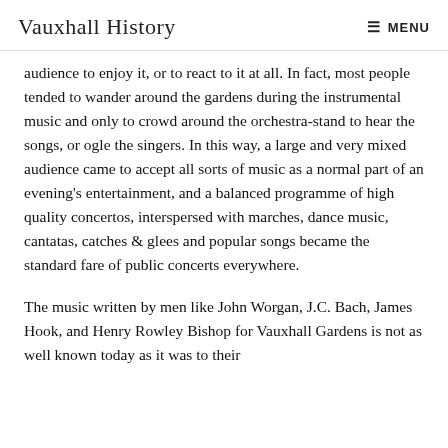Vauxhall History  ≡ MENU
audience to enjoy it, or to react to it at all. In fact, most people tended to wander around the gardens during the instrumental music and only to crowd around the orchestra-stand to hear the songs, or ogle the singers. In this way, a large and very mixed audience came to accept all sorts of music as a normal part of an evening's entertainment, and a balanced programme of high quality concertos, interspersed with marches, dance music, cantatas, catches & glees and popular songs became the standard fare of public concerts everywhere.
The music written by men like John Worgan, J.C. Bach, James Hook, and Henry Rowley Bishop for Vauxhall Gardens is not as well known today as it was to their